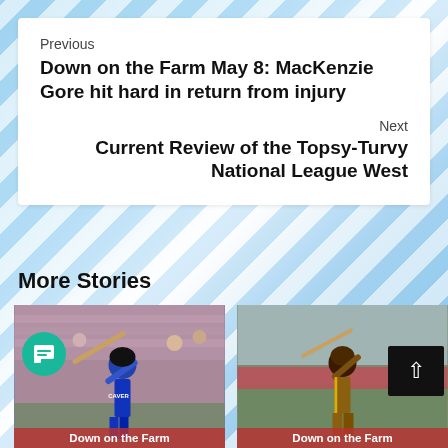Previous
Down on the Farm May 8: MacKenzie Gore hit hard in return from injury
Next
Current Review of the Topsy-Turvy National League West
More Stories
[Figure (photo): Baseball batter in blue uniform swinging at a pitch, crowd in stands in background. Caption: Down on the Farm]
[Figure (photo): Baseball batter in brown and gold uniform in batting stance, field background. Caption: Down on the Farm]